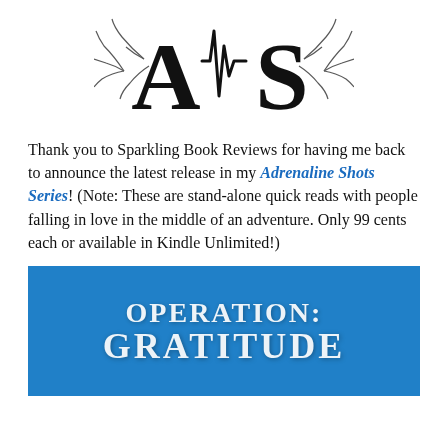[Figure (logo): Adrenaline Shots Series logo: stylized letters A and S with a heartbeat line between them, flanked by lightning bolt illustrations]
Thank you to Sparkling Book Reviews for having me back to announce the latest release in my Adrenaline Shots Series! (Note: These are stand-alone quick reads with people falling in love in the middle of an adventure. Only 99 cents each or available in Kindle Unlimited!)
[Figure (illustration): Blue book banner showing the text OPERATION: GRATITUDE in large white serif letters on a blue background]